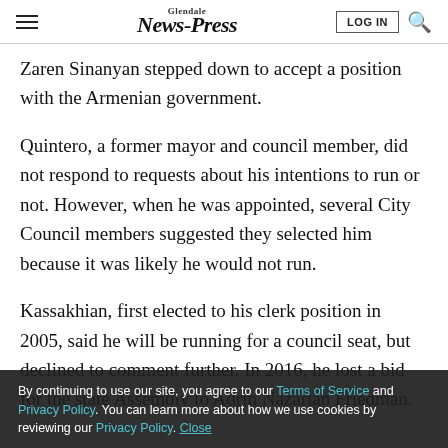Glendale News-Press | LOG IN | Search
Zaren Sinanyan stepped down to accept a position with the Armenian government.
Quintero, a former mayor and council member, did not respond to requests about his intentions to run or not. However, when he was appointed, several City Council members suggested they selected him because it was likely he would not run.
Kassakhian, first elected to his clerk position in 2005, said he will be running for a council seat, but declined to comment further. In 2016, he lost a bid for the state Assembly to Adrin Nazarian Friedman.
By continuing to use our site, you agree to our Terms of Service and Privacy Policy. You can learn more about how we use cookies by reviewing our Privacy Policy. Close